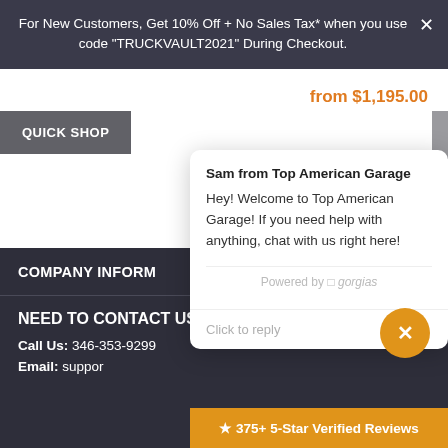For New Customers, Get 10% Off + No Sales Tax* when you use code "TRUCKVAULT2021" During Checkout.
from $1,195.00
QUICK SHOP
Sam from Top American Garage
Hey! Welcome to Top American Garage! If you need help with anything, chat with us right here!
Powered by gorgias
Click to reply
COMPANY INFORM
NEED TO CONTACT US?
Call Us: 346-353-9299
Email: suppor
★ 375+ 5-Star Verified Reviews